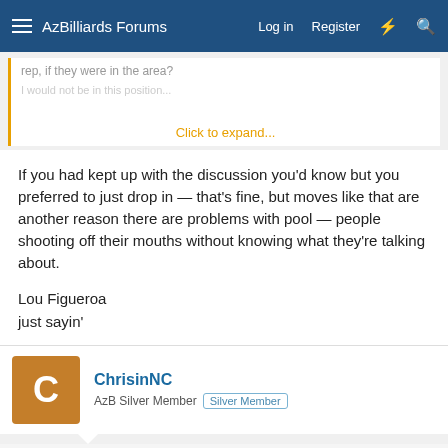AzBilliards Forums | Log in | Register
rep, if they were in the area?
I would not be in this position... Click to expand...
If you had kept up with the discussion you'd know but you preferred to just drop in — that's fine, but moves like that are another reason there are problems with pool — people shooting off their mouths without knowing what they're talking about.

Lou Figueroa
just sayin'
ChrisinNC
AzB Silver Member  Silver Member
Jan 23, 2022  #356
lfigueroa said: